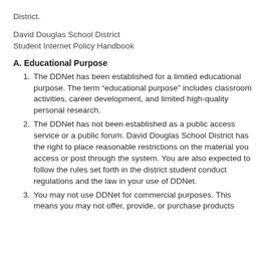District.
David Douglas School District
Student Internet Policy Handbook
A. Educational Purpose
The DDNet has been established for a limited educational purpose. The term “educational purpose” includes classroom activities, career development, and limited high-quality personal research.
The DDNet has not been established as a public access service or a public forum. David Douglas School District has the right to place reasonable restrictions on the material you access or post through the system. You are also expected to follow the rules set forth in the district student conduct regulations and the law in your use of DDNet.
You may not use DDNet for commercial purposes. This means you may not offer, provide, or purchase products